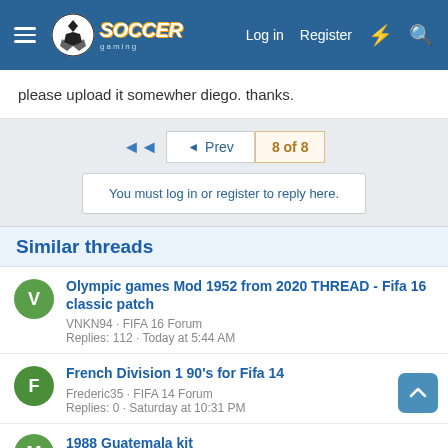Soccer Gaming - Log in | Register
please upload it somewher diego. thanks.
◄◄  ◄ Prev   8 of 8
You must log in or register to reply here.
Similar threads
Olympic games Mod 1952 from 2020 THREAD - Fifa 16 classic patch
VNKN94 · FIFA 16 Forum
Replies: 112 · Today at 5:44 AM
French Division 1 90's for Fifa 14
Frederic35 · FIFA 14 Forum
Replies: 0 · Saturday at 10:31 PM
1988 Guatemala kit